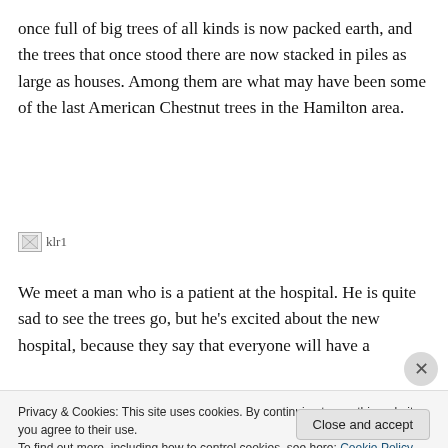once full of big trees of all kinds is now packed earth, and the trees that once stood there are now stacked in piles as large as houses. Among them are what may have been some of the last American Chestnut trees in the Hamilton area.
[Figure (other): Broken image placeholder labeled 'klr1']
We meet a man who is a patient at the hospital. He is quite sad to see the trees go, but he's excited about the new hospital, because they say that everyone will have a
Privacy & Cookies: This site uses cookies. By continuing to use this website, you agree to their use.
To find out more, including how to control cookies, see here: Cookie Policy